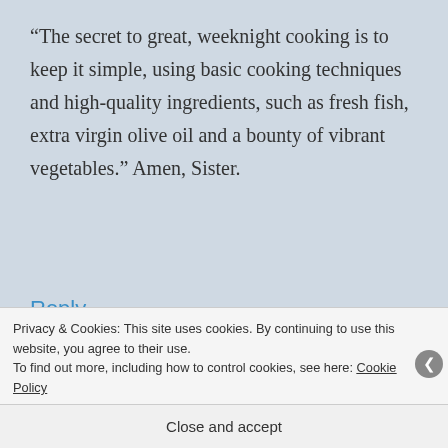“The secret to great, weeknight cooking is to keep it simple, using basic cooking techniques and high-quality ingredients, such as fresh fish, extra virgin olive oil and a bounty of vibrant vegetables.” Amen, Sister.
Reply
[Figure (photo): Profile photo of Shanna Koenigsdorf Ward, a woman sitting at a table]
SHANNA KOENIGSDORF WARD
OCTOBER 30, 2013 AT 8:07 PM
Privacy & Cookies: This site uses cookies. By continuing to use this website, you agree to their use.
To find out more, including how to control cookies, see here: Cookie Policy
Close and accept